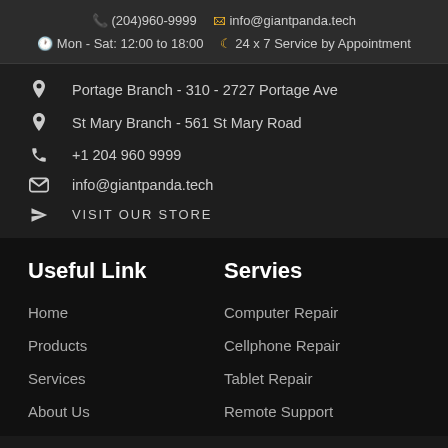(204)960-9999  info@giantpanda.tech  Mon - Sat: 12:00 to 18:00  24 x 7 Service by Appointment
Portage Branch - 310 - 2727 Portage Ave
St Mary Branch - 561 St Mary Road
+1 204 960 9999
info@giantpanda.tech
VISIT OUR STORE
Useful Link
Home
Products
Services
About Us
Servies
Computer Repair
Cellphone Repair
Tablet Repair
Remote Support